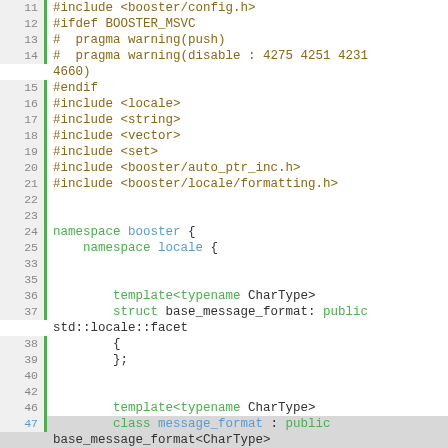[Figure (screenshot): Source code viewer showing C++ header file code with line numbers, syntax highlighting. Lines 11-59 visible. Preprocessor directives in dark gold, keywords in green, identifiers in blue/teal. Some lines highlighted in gray or blue-gray indicating breakpoints or current line.]